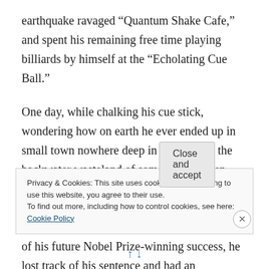earthquake ravaged “Quantum Shake Cafe,” and spent his remaining free time playing billiards by himself at the “Echolating Cue Ball.”
One day, while chalking his cue stick, wondering how on earth he ever ended up in small town nowhere deep in the heart of the backwater wasteland of some godforsaken spot in an obscure corner of the world, when he – Kyle Kintematsu – had been so sure of his post-graduate projection-based prediction of his future Nobel Prize-winning success, he lost track of his sentence and had an
Privacy & Cookies: This site uses cookies. By continuing to use this website, you agree to their use.
To find out more, including how to control cookies, see here: Cookie Policy
Close and accept